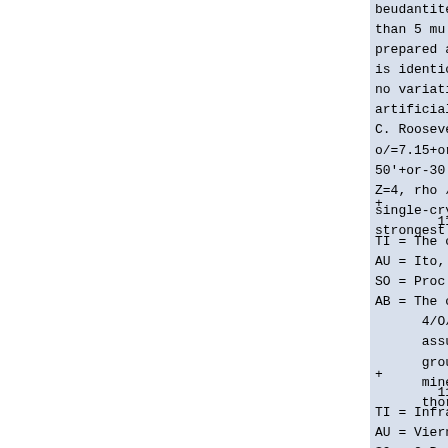beudantite and bismutite. Rossev than 5 mu as pseudomorphs after prepared after A. de Schulten at is identical with that of the mi no variations were observed, in artificial compound. The synthet. C. Rooseveltite is monoclinic, w o/=7.15+or-0.05 A, c/sub o/=6.73- 50'+or-30', space group C/sub 2h Z=4, rho /sub calc./=7.23 gcm/su single-crystal precession photog strongest lines and their intens.
+
        113/        120
TI = The crystal structure of axinite
AU = Ito, T., Takeuchi, Y., Ozawa, T.
SO = Proc. Japan. Acad., 490-4, vol.4
AB = The crystal structure of axinite
      4/O/sub 16/, was investigated by
      assumption that boron atoms in t
      groups like tourmaline. Since ax
      minerals whose crystal structure
      thoroughly reinvestigated using
+
        114/        120
TI = Infrared reflection spectrum of
AU = Vierne, R., Brunel, R.
SO = C.R. Acad. Sci. B (France), 488-
AB = The study of the infrared reflec
      tourmalines has enabled BO/sub 3
      vibration spectra confirming the
      and not of tetrahedral BO/sub 4/